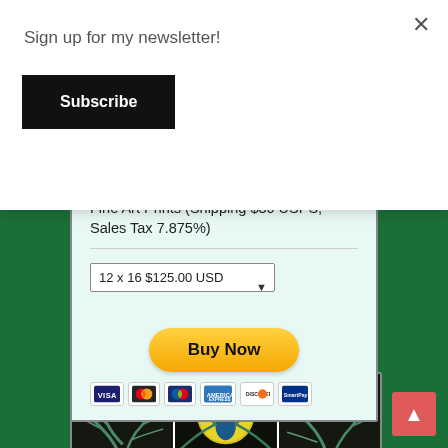Sign up for my newsletter!
Subscribe
Fine Art Prints (Shipping $30 USPS, Sales Tax 7.875%)
12 x 16 $125.00 USD
[Figure (screenshot): PayPal Buy Now button with payment card icons: Visa, Mastercard, Maestro, American Express, Discover, SmartPay]
[Figure (photo): Three art print thumbnails showing dark tree-branch illustrations with a bird/figure against a yellow moon in the center panel]